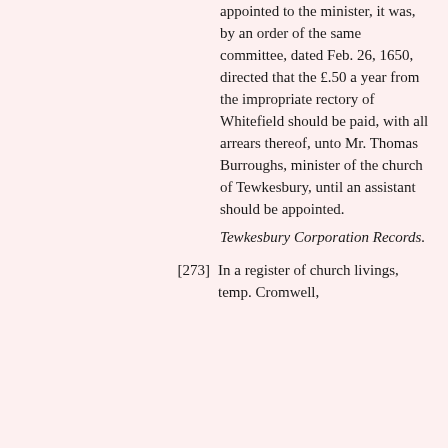appointed to the minister, it was, by an order of the same committee, dated Feb. 26, 1650, directed that the £.50 a year from the impropriate rectory of Whitefield should be paid, with all arrears thereof, unto Mr. Thomas Burroughs, minister of the church of Tewkesbury, until an assistant should be appointed.
Tewkesbury Corporation Records.
[273] In a register of church livings, temp. Cromwell,